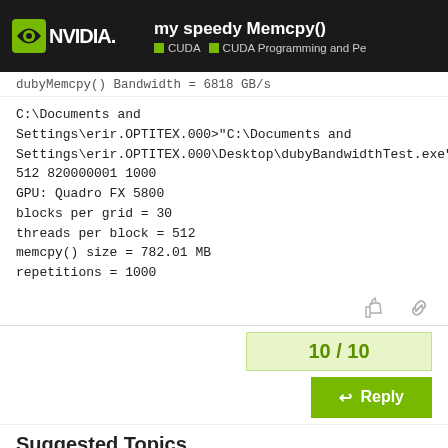my speedy Memcpy() | CUDA | CUDA Programming and Pe
dubyMemcpy() Bandwidth = 6818 GB/s
C:\Documents and Settings\erir.OPTITEX.000>"C:\Documents and Settings\erir.OPTITEX.000\Desktop\dubyBandwidthTest.exe" 512 820000001 1000
GPU: Quadro FX 5800
blocks per grid = 30
threads per block = 512
memcpy() size = 782.01 MB
repetitions = 1000
10 / 10
Reply
Suggested Topics
Extract overlapping image patches